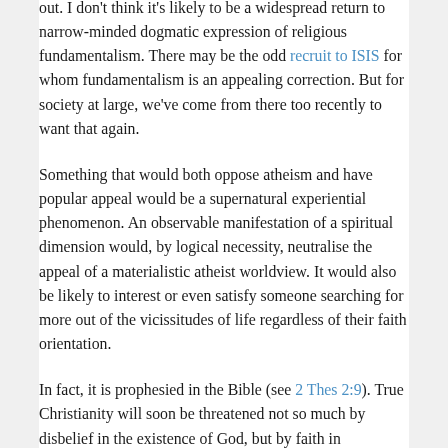out. I don't think it's likely to be a widespread return to narrow-minded dogmatic expression of religious fundamentalism. There may be the odd recruit to ISIS for whom fundamentalism is an appealing correction. But for society at large, we've come from there too recently to want that again.
Something that would both oppose atheism and have popular appeal would be a supernatural experiential phenomenon. An observable manifestation of a spiritual dimension would, by logical necessity, neutralise the appeal of a materialistic atheist worldview. It would also be likely to interest or even satisfy someone searching for more out of the vicissitudes of life regardless of their faith orientation.
In fact, it is prophesied in the Bible (see 2 Thes 2:9). True Christianity will soon be threatened not so much by disbelief in the existence of God, but by faith in manifestations from the spirit world that are fundamentally evil.